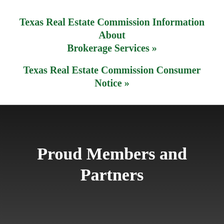Texas Real Estate Commission Information About Brokerage Services »
Texas Real Estate Commission Consumer Notice »
Proud Members and Partners